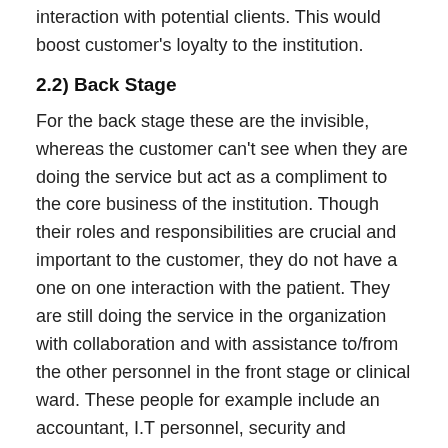interaction with potential clients. This would boost customer's loyalty to the institution.
2.2) Back Stage
For the back stage these are the invisible, whereas the customer can't see when they are doing the service but act as a compliment to the core business of the institution. Though their roles and responsibilities are crucial and important to the customer, they do not have a one on one interaction with the patient. They are still doing the service in the organization with collaboration and with assistance to/from the other personnel in the front stage or clinical ward. These people for example include an accountant, I.T personnel, security and suppliers of all medical equipment, janitor or janitress. Some of them for instance act as messengers, connecting the doctor to the patient with the details maybe about their condition or possible treatment